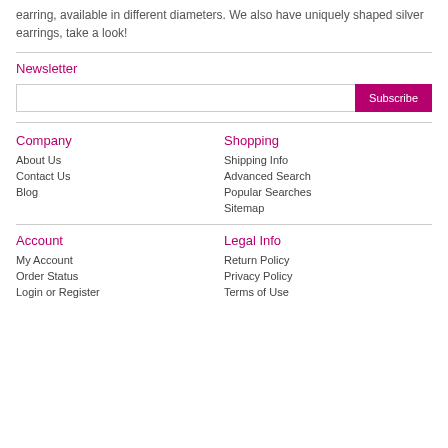earring, available in different diameters. We also have uniquely shaped silver earrings, take a look!
Newsletter
Subscribe (input field with Subscribe button)
Company
About Us
Contact Us
Blog
Shopping
Shipping Info
Advanced Search
Popular Searches
Sitemap
Account
My Account
Order Status
Login or Register
Legal Info
Return Policy
Privacy Policy
Terms of Use